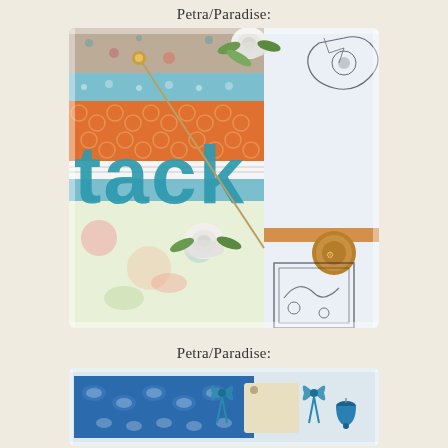Petra/Paradise:
[Figure (photo): A handmade scrapbook/craft card featuring patterned papers in orange, teal, and floral prints, with the word 'tack' spelled in teal glitter letters, white paper roses, a hatpin or needle, and decorative stamps/corner embellishments.]
Petra/Paradise:
[Figure (photo): A handmade craft item partially visible, showing blue patterned fabric or paper with white elephant prints, teal ribbon bows, and a small blue bell embellishment on a light background.]